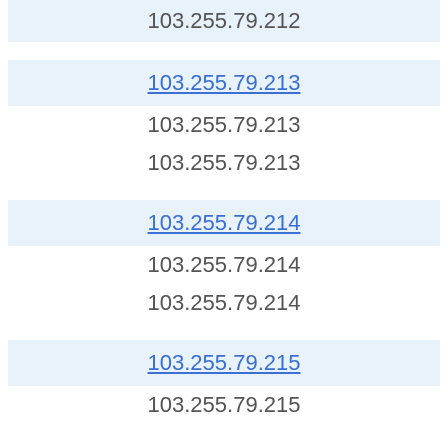103.255.79.212
103.255.79.213
103.255.79.213
103.255.79.213
103.255.79.214
103.255.79.214
103.255.79.214
103.255.79.215
103.255.79.215